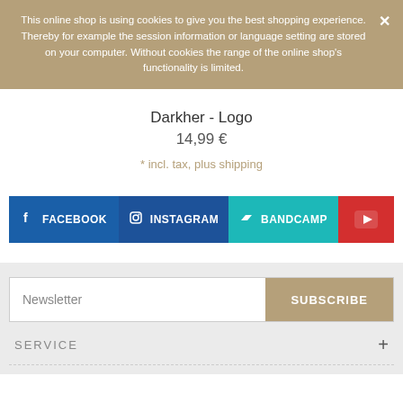This online shop is using cookies to give you the best shopping experience. Thereby for example the session information or language setting are stored on your computer. Without cookies the range of the online shop's functionality is limited.
Darkher - Logo
14,99 €
* incl. tax, plus shipping
[Figure (other): Social media buttons: FACEBOOK, INSTAGRAM, BANDCAMP, YouTube]
Newsletter  SUBSCRIBE
SERVICE +